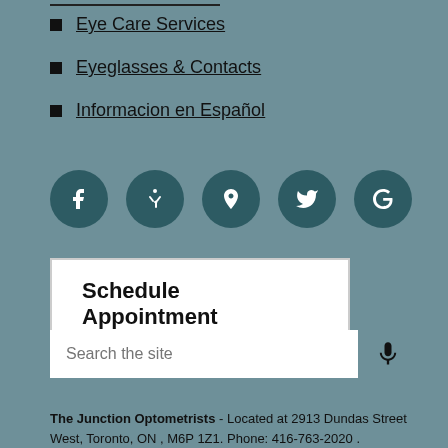Eye Care Services
Eyeglasses & Contacts
Informacion en Español
[Figure (infographic): Row of 5 circular dark teal social media icons: Facebook (f), Yelp (asterisk/star), Location pin, Twitter bird, Google (G)]
Schedule Appointment
Search the site
The Junction Optometrists - Located at 2913 Dundas Street West, Toronto, ON , M6P 1Z1. Phone: 416-763-2020 .